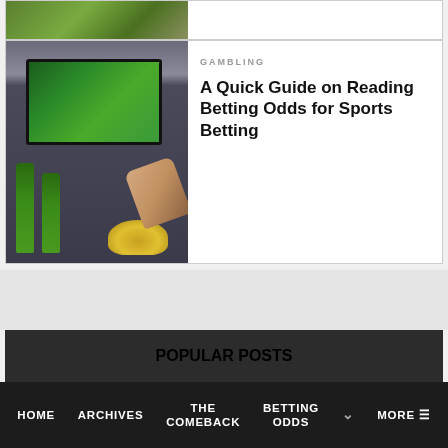[Figure (photo): Partial top card with a sports/green field photo, cut off at top of page]
[Figure (photo): TV showing a football/soccer game with beer bottles and snacks on table; person holding remote]
GAMBLING
A Quick Guide on Reading Betting Odds for Sports Betting
POPULAR POSTS
[Figure (photo): Group photo of hockey team celebrating, wearing caps and burgundy/dark red jerseys]
HOME   ARCHIVES   THE COMEBACK   BETTING ODDS   MORE